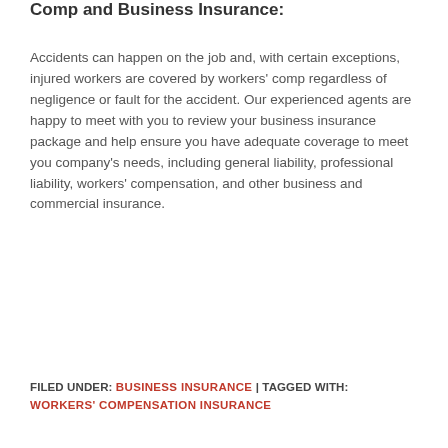Comp and Business Insurance:
Accidents can happen on the job and, with certain exceptions, injured workers are covered by workers' comp regardless of negligence or fault for the accident. Our experienced agents are happy to meet with you to review your business insurance package and help ensure you have adequate coverage to meet you company's needs, including general liability, professional liability, workers' compensation, and other business and commercial insurance.
FILED UNDER: BUSINESS INSURANCE | TAGGED WITH: WORKERS' COMPENSATION INSURANCE